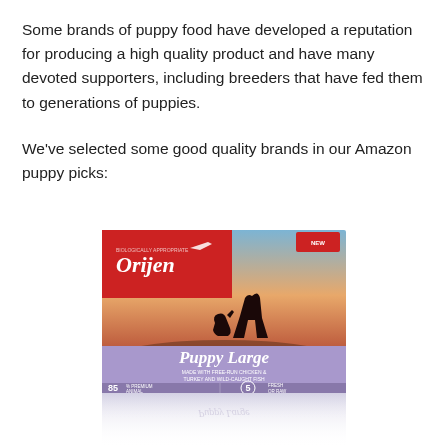Some brands of puppy food have developed a reputation for producing a high quality product and have many devoted supporters, including breeders that have fed them to generations of puppies.
We've selected some good quality brands in our Amazon puppy picks:
[Figure (photo): Orijen Puppy Large dog food box. The box shows a red top section with the Orijen logo and a scenic background with a silhouette of a person playing with a dog at sunset. The lower purple section reads 'Puppy Large - Made with Free-Run Chicken & Turkey and Wild-Caught Fish - 85% Premium Animal Ingredients - Fresh or Raw - 5 key ingredients'. A reflection of the box is visible below.]